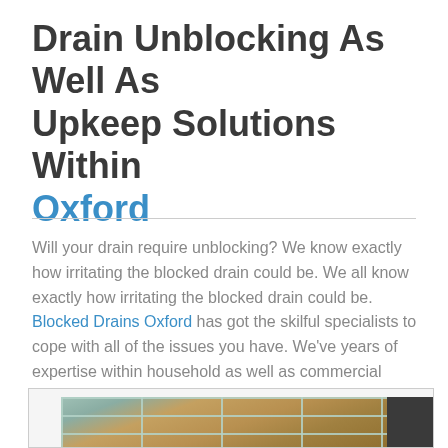Drain Unblocking As Well As Upkeep Solutions Within Oxford
Will your drain require unblocking? We know exactly how irritating the blocked drain could be. We all know exactly how irritating the blocked drain could be. Blocked Drains Oxford has got the skilful specialists to cope with all of the issues you have. We've years of expertise within household as well as commercial drains.
[Figure (photo): Photo of a metal drain grate with autumn leaves visible below, partially obscured by a dark rectangle on the right side.]